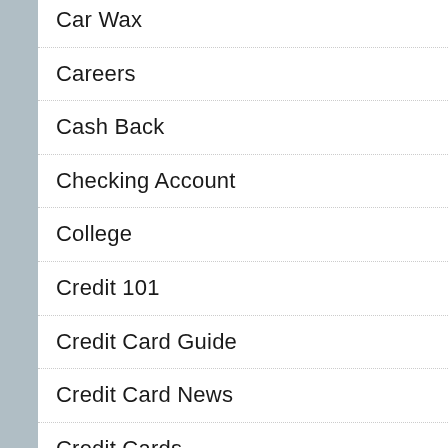Car Wax
Careers
Cash Back
Checking Account
College
Credit 101
Credit Card Guide
Credit Card News
Credit Cards
Credit Repair
Debt
DIY